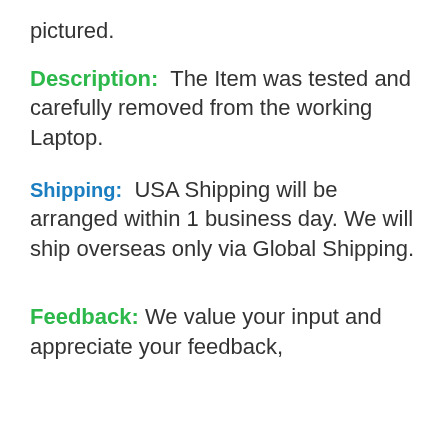pictured.
Description: The Item was tested and carefully removed from the working Laptop.
Shipping: USA Shipping will be arranged within 1 business day. We will ship overseas only via Global Shipping.
Feedback: We value your input and appreciate your feedback,